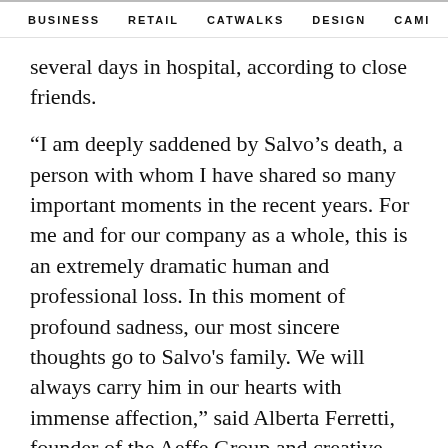BUSINESS   RETAIL   CATWALKS   DESIGN   CAMI >
several days in hospital, according to close friends.
“I am deeply saddened by Salvo’s death, a person with whom I have shared so many important moments in the recent years. For me and for our company as a whole, this is an extremely dramatic human and professional loss. In this moment of profound sadness, our most sincere thoughts go to Salvo’s family. We will always carry him in our hearts with immense affection," said Alberta Ferretti, founder of the Aeffe Group and creative director of the eponymous brand, in a statement.
ADS
[Figure (photo): Bottom portion of an advertisement image showing a partial figure on a warm beige/tan background]